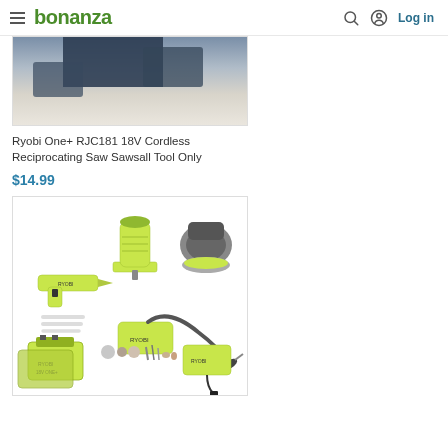bonanza — Log in
[Figure (photo): Partial view of a power tool (dark colored, appears to be a saw or similar tool) on a light surface]
Ryobi One+ RJC181 18V Cordless Reciprocating Saw Sawsall Tool Only
$14.99
[Figure (photo): Ryobi 18V cordless tool kit showing multiple tools: glue gun, trim router, rotary tool with accessories, random orbital sander, battery charger, and two lithium batteries, all in lime green and black Ryobi colors]